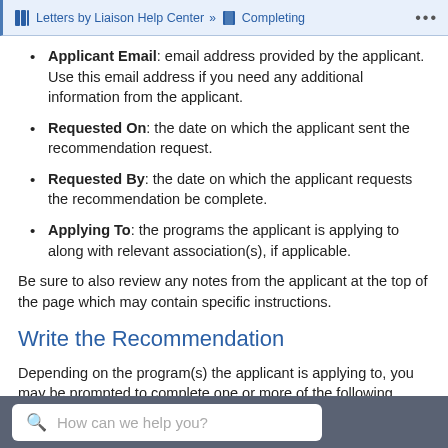Letters by Liaison Help Center » Completing
Applicant Email: email address provided by the applicant. Use this email address if you need any additional information from the applicant.
Requested On: the date on which the applicant sent the recommendation request.
Requested By: the date on which the applicant requests the recommendation be complete.
Applying To: the programs the applicant is applying to along with relevant association(s), if applicable.
Be sure to also review any notes from the applicant at the top of the page which may contain specific instructions.
Write the Recommendation
Depending on the program(s) the applicant is applying to, you may be prompted to complete one or more of the following
How can we help you?